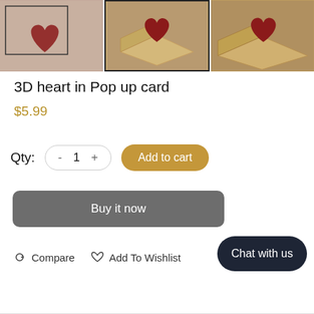[Figure (photo): Three product images of a 3D heart pop-up card shown side by side]
3D heart in Pop up card
$5.99
Qty: - 1 +   Add to cart
Buy it now
Compare   Add To Wishlist
Chat with us